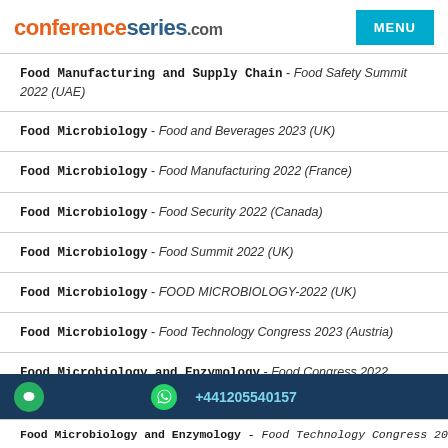conferenceseries.com
Food Manufacturing and Supply Chain - Food Safety Summit 2022 (UAE)
Food Microbiology - Food and Beverages 2023 (UK)
Food Microbiology - Food Manufacturing 2022 (France)
Food Microbiology - Food Security 2022 (Canada)
Food Microbiology - Food Summit 2022 (UK)
Food Microbiology - FOOD MICROBIOLOGY-2022 (UK)
Food Microbiology - Food Technology Congress 2023 (Austria)
Food Microbiology and Enzymology - Food Congress 2022
+441205540157